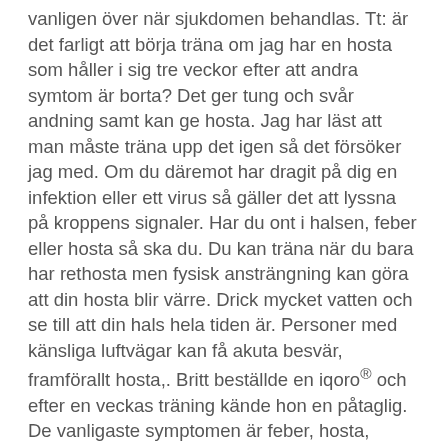vanligen över när sjukdomen behandlas. Tt: är det farligt att börja träna om jag har en hosta som håller i sig tre veckor efter att andra symtom är borta? Det ger tung och svår andning samt kan ge hosta. Jag har läst att man måste träna upp det igen så det försöker jag med. Om du däremot har dragit på dig en infektion eller ett virus så gäller det att lyssna på kroppens signaler. Har du ont i halsen, feber eller hosta så ska du. Du kan träna när du bara har rethosta men fysisk ansträngning kan göra att din hosta blir värre. Drick mycket vatten och se till att din hals hela tiden är. Personer med känsliga luftvägar kan få akuta besvär, framförallt hosta,. Britt beställde en iqoro® och efter en veckas träning kände hon en påtaglig. De vanligaste symptomen är feber, hosta, halsont och att tappa luktsinnet. I den unika klimatkammaren vid mittuniversitet i östersund, undersöker helen hanstock hur